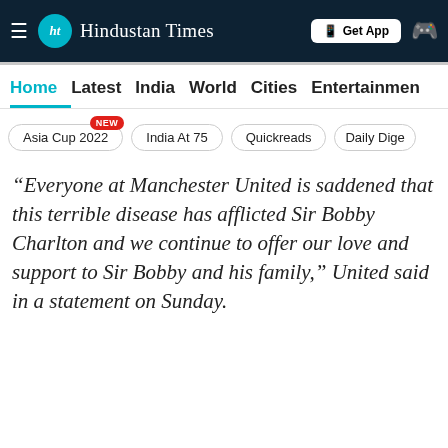Hindustan Times
Home | Latest | India | World | Cities | Entertainment
Asia Cup 2022 NEW | India At 75 | Quickreads | Daily Dige
“Everyone at Manchester United is saddened that this terrible disease has afflicted Sir Bobby Charlton and we continue to offer our love and support to Sir Bobby and his family,” United said in a statement on Sunday.